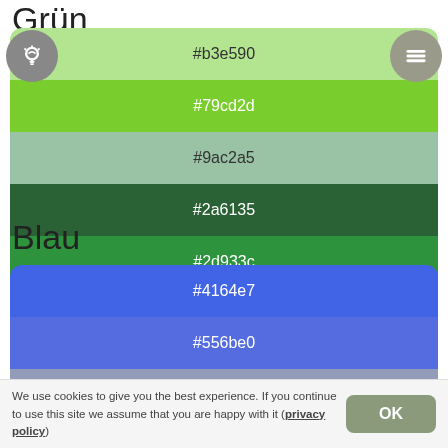Grün
[Figure (infographic): Green color palette card showing five color swatches: #b3e590 (light green), #79cd2d (bright green), #9ac2a5 (muted green), #2a6135 (dark green), #2d933c (medium green). A lightbulb icon circle on the left and a menu icon circle on the right overlay the top row.]
Blau
[Figure (infographic): Blue color palette card showing four color swatches: #4164e7 (bright blue), #556be0 (medium blue), #929bb8 (grey-blue), #15409d (dark blue).]
We use cookies to give you the best experience. If you continue to use this site we assume that you are happy with it (privacy policy)